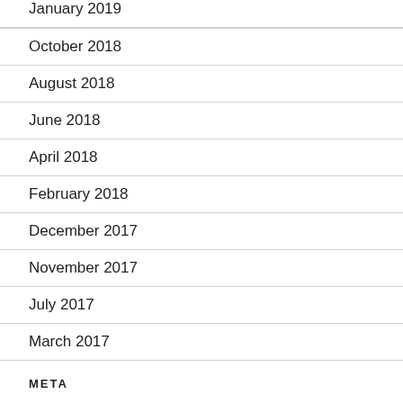January 2019
October 2018
August 2018
June 2018
April 2018
February 2018
December 2017
November 2017
July 2017
March 2017
META